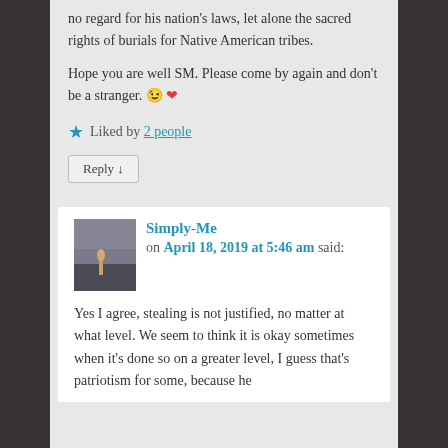no regard for his nation's laws, let alone the sacred rights of burials for Native American tribes.
Hope you are well SM. Please come by again and don't be a stranger. 😉 ❤
★ Liked by 2 people
Reply ↓
Simply-Me
on April 18, 2019 at 5:46 am said:
Yes I agree, stealing is not justified, no matter at what level. We seem to think it is okay sometimes when it's done so on a greater level, I guess that's patriotism for some, because he